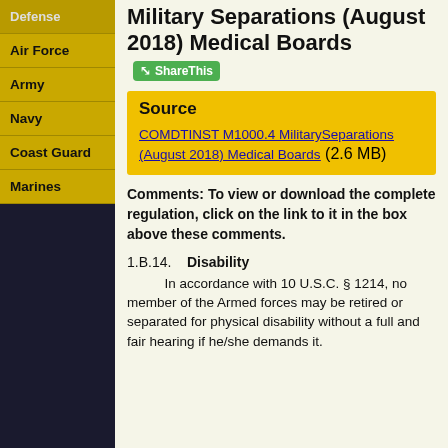Defense
Air Force
Army
Navy
Coast Guard
Marines
Military Separations (August 2018) Medical Boards
Source
COMDTINST M1000.4 MilitarySeparations (August 2018) Medical Boards (2.6 MB)
Comments: To view or download the complete regulation, click on the link to it in the box above these comments.
1.B.14.   Disability
        In accordance with 10 U.S.C. § 1214, no member of the Armed forces may be retired or separated for physical disability without a full and fair hearing if he/she demands it.